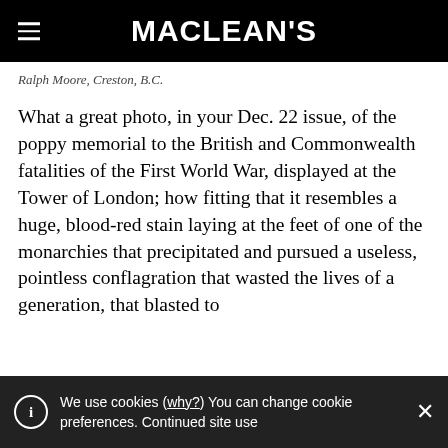MACLEAN'S
Ralph Moore, Creston, B.C.
What a great photo, in your Dec. 22 issue, of the poppy memorial to the British and Commonwealth fatalities of the First World War, displayed at the Tower of London; how fitting that it resembles a huge, blood-red stain laying at the feet of one of the monarchies that precipitated and pursued a useless, pointless conflagration that wasted the lives of a generation, that blasted to
We use cookies (why?) You can change cookie preferences. Continued site use